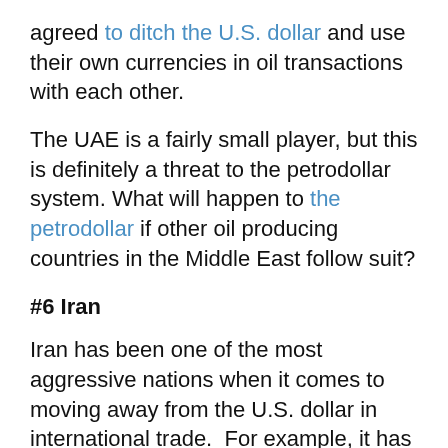agreed to ditch the U.S. dollar and use their own currencies in oil transactions with each other.
The UAE is a fairly small player, but this is definitely a threat to the petrodollar system. What will happen to the petrodollar if other oil producing countries in the Middle East follow suit?
#6 Iran
Iran has been one of the most aggressive nations when it comes to moving away from the U.S. dollar in international trade.  For example, it has been reported that India will begin to use gold to buy oil from Iran.